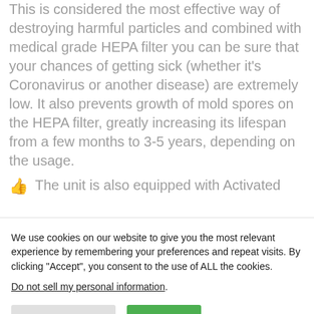This is considered the most effective way of destroying harmful particles and combined with medical grade HEPA filter you can be sure that your chances of getting sick (whether it's Coronavirus or another disease) are extremely low. It also prevents growth of mold spores on the HEPA filter, greatly increasing its lifespan from a few months to 3-5 years, depending on the usage.
The unit is also equipped with Activated
We use cookies on our website to give you the most relevant experience by remembering your preferences and repeat visits. By clicking "Accept", you consent to the use of ALL the cookies.
Do not sell my personal information.